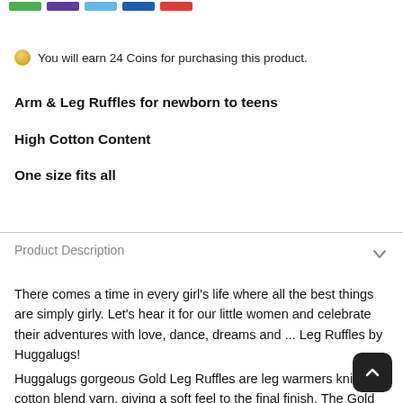[Figure (other): Row of colored swatches: green, purple, light blue, blue, red]
You will earn 24 Coins for purchasing this product.
Arm & Leg Ruffles for newborn to teens
High Cotton Content
One size fits all
Product Description
There comes a time in every girl's life where all the best things are simply girly. Let's hear it for our little women and celebrate their adventures with love, dance, dreams and ... Leg Ruffles by Huggalugs!
Huggalugs gorgeous Gold Leg Ruffles are leg warmers knitted a cotton blend yarn, giving a soft feel to the final finish. The Gold Leg Ruffles features a golden sparkling fabric that is certain to draw